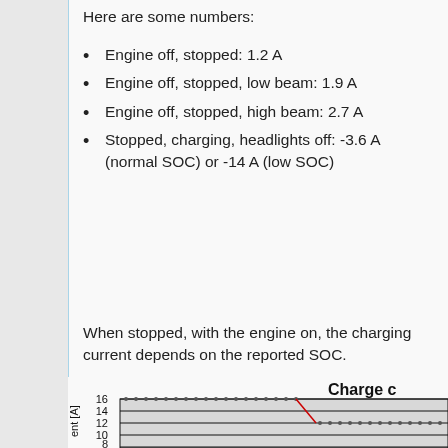Here are some numbers:
Engine off, stopped: 1.2 A
Engine off, stopped, low beam: 1.9 A
Engine off, stopped, high beam: 2.7 A
Stopped, charging, headlights off: -3.6 A (normal SOC) or -14 A (low SOC)
When stopped, with the engine on, the charging current depends on the reported SOC.
[Figure (continuous-plot): Partial chart titled 'Charge c...' showing a line/scatter plot with y-axis labeled 'ent [A]' (current in amperes), with y-axis ticks at 8, 10, 12, 14, 16. The plot shows dotted data points at 16A that drop via a red diagonal line to approximately 12A, then continue as dotted points at 12A. The chart area has a grey fill.]